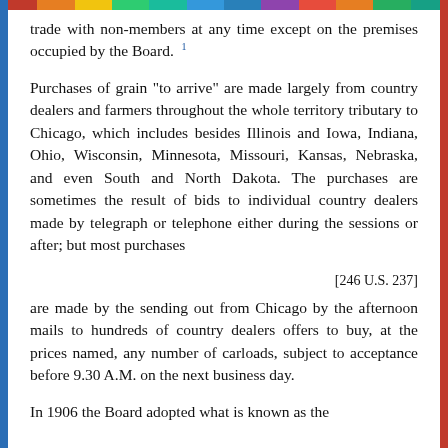trade with non-members at any time except on the premises occupied by the Board. 1
Purchases of grain "to arrive" are made largely from country dealers and farmers throughout the whole territory tributary to Chicago, which includes besides Illinois and Iowa, Indiana, Ohio, Wisconsin, Minnesota, Missouri, Kansas, Nebraska, and even South and North Dakota. The purchases are sometimes the result of bids to individual country dealers made by telegraph or telephone either during the sessions or after; but most purchases
[246 U.S. 237]
are made by the sending out from Chicago by the afternoon mails to hundreds of country dealers offers to buy, at the prices named, any number of carloads, subject to acceptance before 9.30 A.M. on the next business day.
In 1906 the Board adopted what is known as the